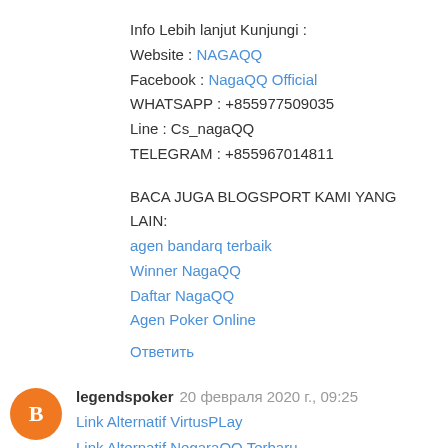Info Lebih lanjut Kunjungi :
Website : NAGAQQ
Facebook : NagaQQ Official
WHATSAPP : +855977509035
Line : Cs_nagaQQ
TELEGRAM : +855967014811
BACA JUGA BLOGSPORT KAMI YANG LAIN:
agen bandarq terbaik
Winner NagaQQ
Daftar NagaQQ
Agen Poker Online
Ответить
legendspoker  20 февраля 2020 г., 09:25
Link Alternatif VirtusPLay
Link Alternatif NegaraQQ Terbaru
Link Alternatif PanenPoker Terbaru 2020
Link Alternatif JudiSakti
Ответить